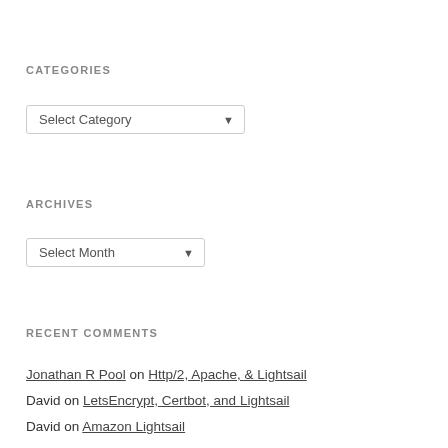CATEGORIES
Select Category (dropdown)
ARCHIVES
Select Month (dropdown)
RECENT COMMENTS
Jonathan R Pool on Http/2, Apache, & Lightsail
David on LetsEncrypt, Certbot, and Lightsail
David on Amazon Lightsail
David on Amazon Linux 2 & Firewalld